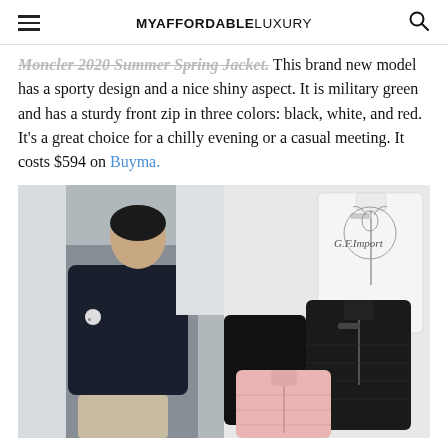MYAFFORDABLELUXURY
Moncler 2020 Summer Spring Jacket. This brand new model has a sporty design and a nice shiny aspect. It is military green and has a sturdy front zip in three colors: black, white, and red. It’s a great choice for a chilly evening or a casual meeting. It costs $594 on Buyma.
[Figure (photo): Product photo collage of Moncler jackets: a woman wearing a dark navy quilted jacket on the left, and three jacket variants (white, black, pink) shown flat on the right. A G.F. Import watermark logo appears in the upper right.]